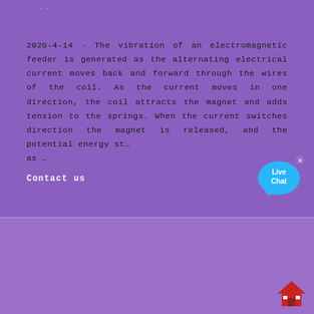...
2020-4-14 · The vibration of an electromagnetic feeder is generated as the alternating electrical current moves back and forward through the wires of the coil. As the current moves in one direction, the coil attracts the magnet and adds tension to the springs. When the current switches direction the magnet is released, and the potential energy st... as ...
Contact us
[Figure (photo): Industrial mining or crushing equipment (white and red cone crusher or similar machine) being installed by workers in hard hats at an outdoor site. Machine labeled HF191227.]